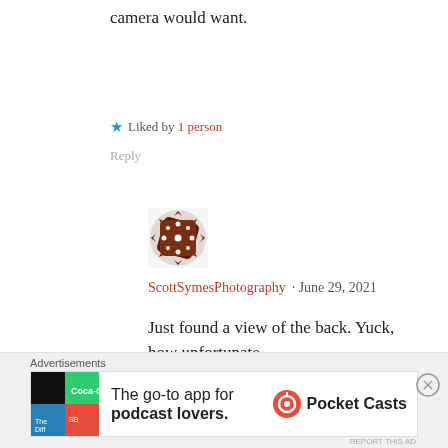camera would want.
★ Liked by 1 person
Reply
[Figure (illustration): User avatar: decorative brown and white snowflake/mandala pattern]
ScottSymesPhotography · June 29, 2021
Just found a view of the back. Yuck, how unfortunate.
★ Liked by 1 person
Reply
Advertisements
[Figure (screenshot): Pocket Casts advertisement banner: 'The go-to app for podcast lovers.' with Pocket Casts logo]